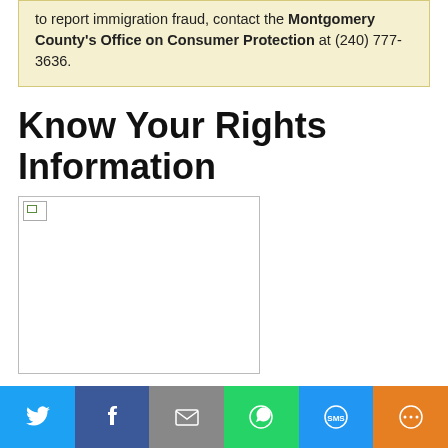to report immigration fraud, contact the Montgomery County's Office on Consumer Protection at (240) 777-3636.
Know Your Rights Information
[Figure (photo): Image placeholder (broken image icon) representing Know Your Rights informational graphic]
Update: Immigration FAQs (as of 7/11/2019)
In order to help immigrant communities be prepared for any emergency situations that may arise, we have updated our Immigration FAQs to include Know Your Rights resources, information on how to prepare for possible ICE raids, where to get legal help, and more. (English) (Spanish) If you are a victim of an immigration raid or know of a raid in the area, call CASA de Maryland's hotline at 301-431-4185. In case
Social share bar: Twitter, Facebook, Email, WhatsApp, SMS, More